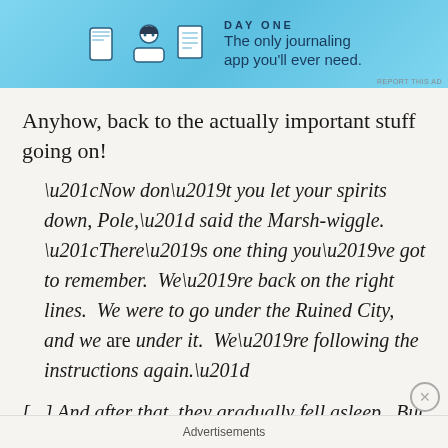[Figure (screenshot): Advertisement banner for Day One journaling app with blue background, icons of a journal, person, and document, and text 'The only journaling app you'll ever need.']
Anyhow, back to the actually important stuff going on!
“Now don’t you let your spirits down, Pole,” said the Marsh-wiggle. “There’s one thing you’ve got to remember. We’re back on the right lines. We were to go under the Ruined City, and we are under it. We’re following the instructions again.”
[...] And after that, they gradually fell asleep. But when they woke, everything was just the same; the gnomes
Advertisements